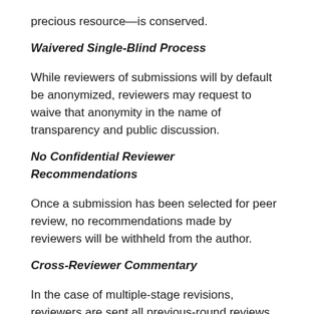precious resource—is conserved.
Waivered Single-Blind Process
While reviewers of submissions will by default be anonymized, reviewers may request to waive that anonymity in the name of transparency and public discussion.
No Confidential Reviewer Recommendations
Once a submission has been selected for peer review, no recommendations made by reviewers will be withheld from the author.
Cross-Reviewer Commentary
In the case of multiple-stage revisions, reviewers are sent all previous-round reviews, and are encouraged to comment where they deem appropriate.